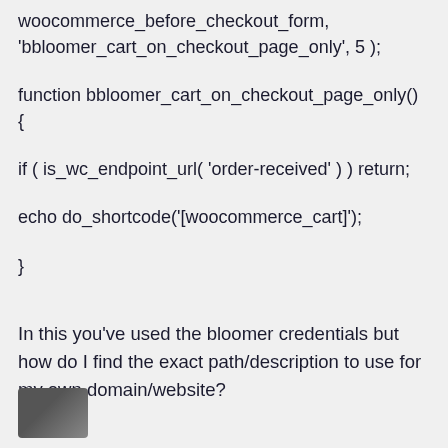woocommerce_before_checkout_form,
'bbloomer_cart_on_checkout_page_only', 5 );

function bbloomer_cart_on_checkout_page_only()
{

if ( is_wc_endpoint_url( 'order-received' ) ) return;

echo do_shortcode('[woocommerce_cart]');

}
In this you've used the bloomer credentials but how do I find the exact path/description to use for my own domain/website?
[Figure (photo): Partial avatar/profile photo at bottom left of page]